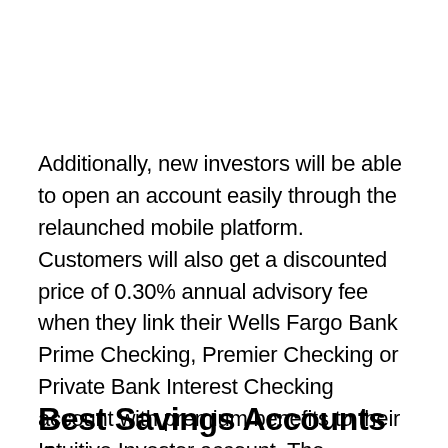Additionally, new investors will be able to open an account easily through the relaunched mobile platform. Customers will also get a discounted price of 0.30% annual advisory fee when they link their Wells Fargo Bank Prime Checking, Premier Checking or Private Bank Interest Checking account with premium benefits to their Intuitive Investor account. The standard annual advisory fee is 0.35% of an investor's return.
Best Savings Accounts &